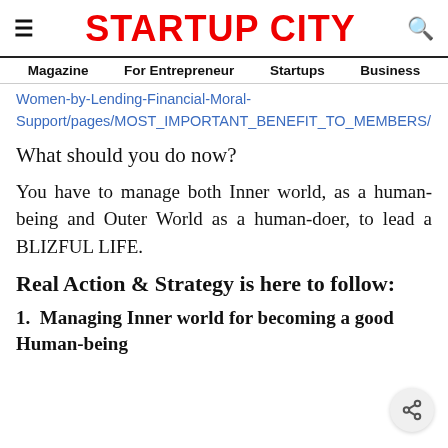STARTUP CITY
Magazine   For Entrepreneur   Startups   Business
Women-by-Lending-Financial-Moral-Support/pages/MOST_IMPORTANT_BENEFIT_TO_MEMBERS/
What should you do now?
You have to manage both Inner world, as a human-being and Outer World as a human-doer, to lead a BLIZFUL LIFE.
Real Action & Strategy is here to follow:
1. Managing Inner world for becoming a good Human-being